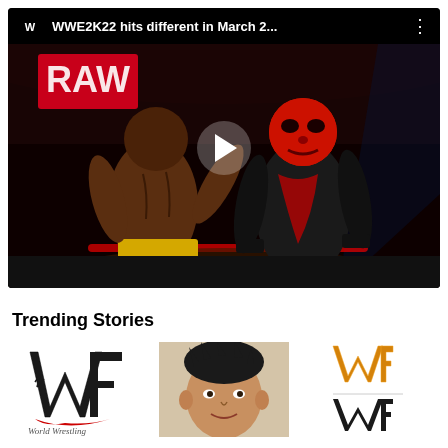[Figure (screenshot): YouTube video thumbnail showing WWE2K22 video game footage with two wrestlers facing each other in a WWE RAW arena. One wrestler is shirtless and dark-skinned facing away, the other wears a red mask and dark outfit. A play button is visible in the center. Video title reads 'WWE2K22 hits different in March 2...']
Trending Stories
[Figure (logo): WWF World Wrestling Federation logo in black and red with text 'World Wrestling' below]
[Figure (photo): Photo of a male wrestler with dark spiky hair]
[Figure (logo): WWE logo variants in gold/orange and black]